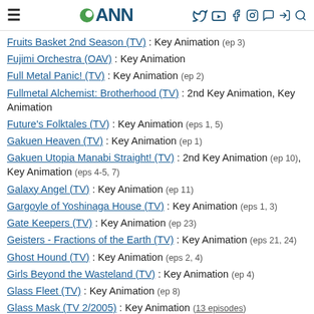ANN
Fruits Basket 2nd Season (TV) : Key Animation (ep 3)
Fujimi Orchestra (OAV) : Key Animation
Full Metal Panic! (TV) : Key Animation (ep 2)
Fullmetal Alchemist: Brotherhood (TV) : 2nd Key Animation, Key Animation
Future's Folktales (TV) : Key Animation (eps 1, 5)
Gakuen Heaven (TV) : Key Animation (ep 1)
Gakuen Utopia Manabi Straight! (TV) : 2nd Key Animation (ep 10), Key Animation (eps 4-5, 7)
Galaxy Angel (TV) : Key Animation (ep 11)
Gargoyle of Yoshinaga House (TV) : Key Animation (eps 1, 3)
Gate Keepers (TV) : Key Animation (ep 23)
Geisters - Fractions of the Earth (TV) : Key Animation (eps 21, 24)
Ghost Hound (TV) : Key Animation (eps 2, 4)
Girls Beyond the Wasteland (TV) : Key Animation (ep 4)
Glass Fleet (TV) : Key Animation (ep 8)
Glass Mask (TV 2/2005) : Key Animation (13 episodes)
Gokudo (TV) : Key Animation (6 episodes)
Gosick (TV) : Key Animation (eps 4, 14)
Gourmet Girl Graffiti (TV) : Animation Director (ep 4), Key Animation (ep 4)